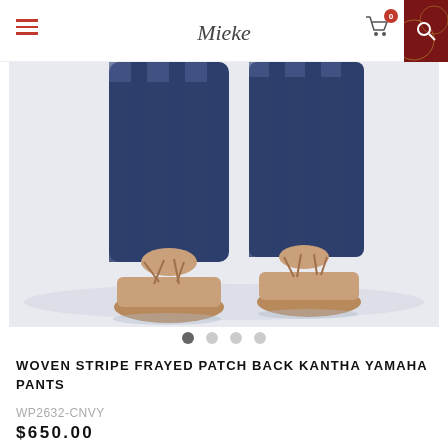Mieke — navigation header with hamburger menu, logo, cart (0 items), and search icon
[Figure (photo): Close-up photo of a person's lower legs wearing navy blue and grey woven stripe pants and tan lace-up flat sandals against a light background]
WOVEN STRIPE FRAYED PATCH BACK KANTHA YAMAHA PANTS
WP2632-CNVY
$650.00